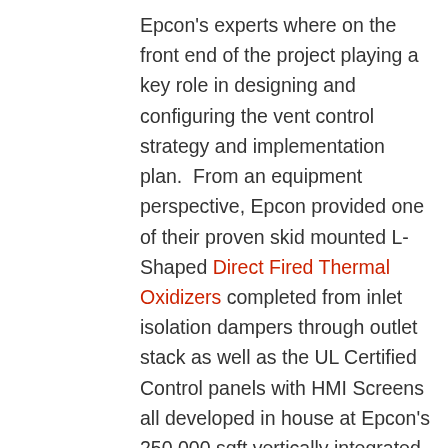Epcon's experts where on the front end of the project playing a key role in designing and configuring the vent control strategy and implementation plan.  From an equipment perspective, Epcon provided one of their proven skid mounted L-Shaped Direct Fired Thermal Oxidizers completed from inlet isolation dampers through outlet stack as well as the UL Certified Control panels with HMI Screens all developed in house at Epcon's 250,000 sqft vertically integrated manufacturing operations.  After fabrication the customer visited the plant to be on hand for the comprehensive FAT (Factory Acceptance Testing) prior to shipment.  Once at site, Epcon's technicians were on hand to supervise and assist with the commissioning